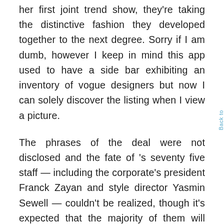her first joint trend show, they're taking the distinctive fashion they developed together to the next degree. Sorry if I am dumb, however I keep in mind this app used to have a side bar exhibiting an inventory of vogue designers but now I can solely discover the listing when I view a picture.
The phrases of the deal were not disclosed and the fate of 's seventy five staff — including the corporate's president Franck Zayan and style director Yasmin Sewell — couldn't be realized, though it's expected that the majority of them will lose their jobs. Bodices remained on the natural waistline, necklines various, while sleeves started below the shoulder line.